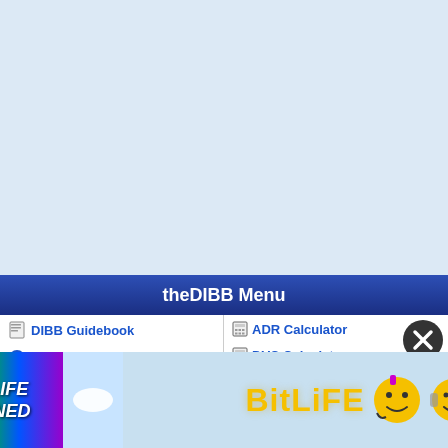[Figure (screenshot): Light blue blank background area taking up upper portion of the page]
theDIBB Menu
DIBB Guidebook
DIBB Information
DIBB A...
Premiu...
Vacation Planner
Park & Resort Maps
ADR Calculator
DVC Calculator
Hotel Reviews
Florida Villa Rentals
[Figure (screenshot): BitLife advertisement banner: rainbow colored left side with text 'WHEN REAL LIFE IS QUARANTINED', middle section with pill icon, right blue section with BitLife logo and emoji characters]
[Figure (other): Black X close button circle on the right side of the menu]